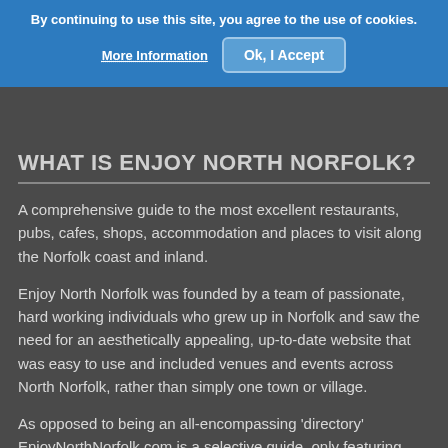By continuing to use this site, you agree to the use of cookies.
More Information
Ok, I Accept
WHAT IS ENJOY NORTH NORFOLK?
A comprehensive guide to the most excellent restaurants, pubs, cafes, shops, accommodation and places to visit along the Norfolk coast and inland.
Enjoy North Norfolk was founded by a team of passionate, hard working individuals who grew up in Norfolk and saw the need for an aesthetically appealing, up-to-date website that was easy to use and included venues and events across North Norfolk, rather than simply one town or village.
As opposed to being an all-encompassing 'directory' EnjoyNorthNorfolk.com is a selective guide, only featuring those places that offer a very high quality of service or